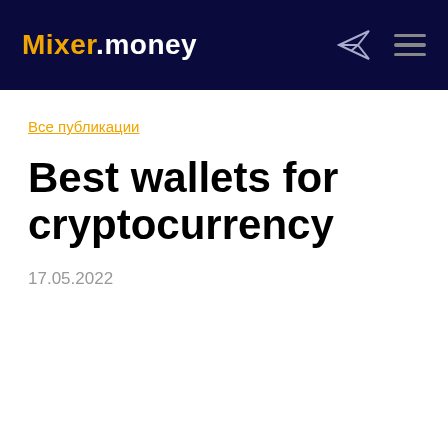Mixer.money
Все публикации
Best wallets for cryptocurrency
17.05.2022